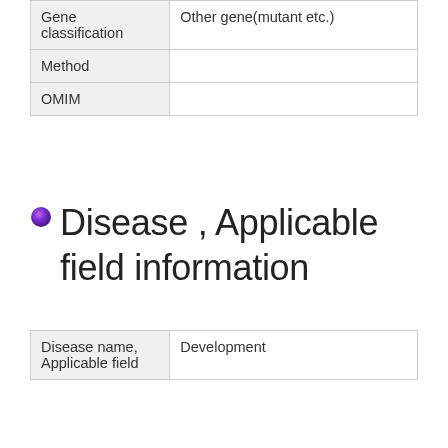| Gene classification | Other gene(mutant etc.) |
| Method |  |
| OMIM |  |
Disease , Applicable field information
| Disease name, Applicable field | Development |